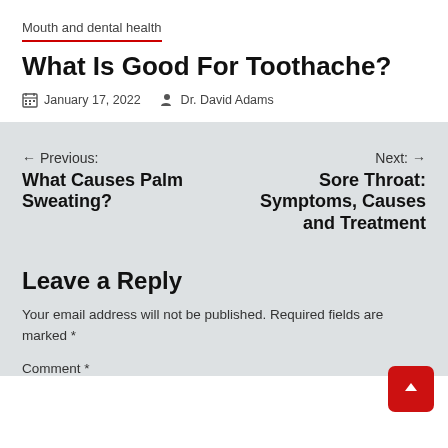Mouth and dental health
What Is Good For Toothache?
January 17, 2022   Dr. David Adams
← Previous: What Causes Palm Sweating?
Next: → Sore Throat: Symptoms, Causes and Treatment
Leave a Reply
Your email address will not be published. Required fields are marked *
Comment *